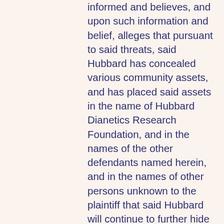informed and believes, and upon such information and belief, alleges that pursuant to said threats, said Hubbard has concealed various community assets, and has placed said assets in the name of Hubbard Dianetics Research Foundation, and in the names of the other defendants named herein, and in the names of other persons unknown to the plaintiff that said Hubbard will continue to further hide and conceal said community property assets from plaintiff unless prevented from doing so by the appointment of a receiver herein; that by reason of the said acts of said Hubbard, plaintiff has been compelled to exhaust her own